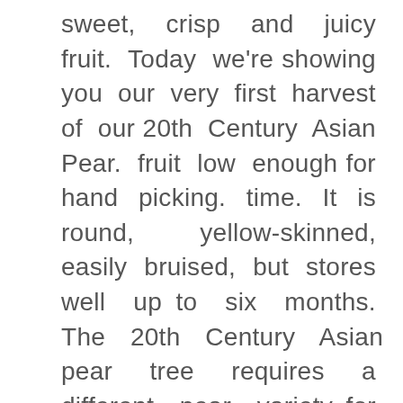sweet, crisp and juicy fruit. Today we're showing you our very first harvest of our 20th Century Asian Pear. fruit low enough for hand picking. time. It is round, yellow-skinned, easily bruised, but stores well up to six months. The 20th Century Asian pear tree requires a different pear variety for pollination. This cultivar often begins producing fruit in its second year, though it can take up six years before you can pick a decent harvest. It is healthy and thriving well with my other Asian Pears. 450 hrs. ), available from Arbico Organics, according to package instructions. You